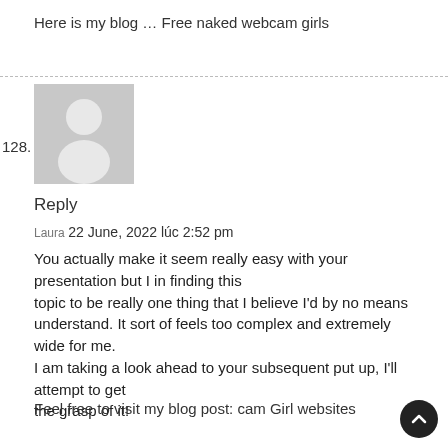Here is my blog … Free naked webcam girls
128.
[Figure (illustration): Default user avatar placeholder — grey square with white silhouette of a person]
Reply
Laura 22 June, 2022 lúc 2:52 pm
You actually make it seem really easy with your presentation but I in finding this topic to be really one thing that I believe I'd by no means understand. It sort of feels too complex and extremely wide for me.
I am taking a look ahead to your subsequent put up, I'll attempt to get the grasp of it!
Feel free to visit my blog post: cam Girl websites